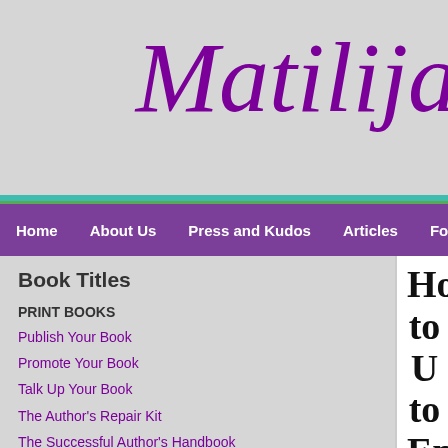Matilija
Home | About Us | Press and Kudos | Articles | For Writers | Edito...
Book Titles
PRINT BOOKS
Publish Your Book
Promote Your Book
Talk Up Your Book
The Author's Repair Kit
The Successful Author's Handbook
The Successful Writer's Handbook
Catscapades
EBOOKS
How to U... to Enha...
(Published in a special creativity iss...
I've noticed that my writing has imp... designing a new flowerbed or replan... taking a short break to pick snow pe... writing. I began to wonder, how can
I wanted to know if this phenomeno...